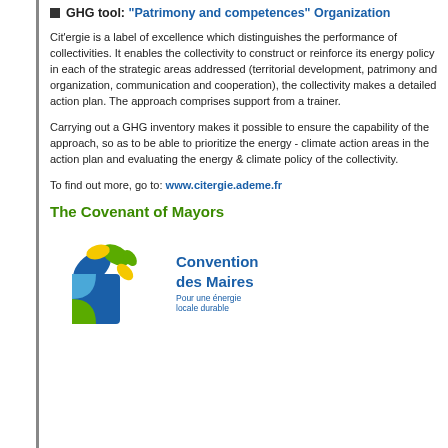GHG tool: "Patrimony and competences" Organization
Cit'ergie is a label of excellence which distinguishes the performance of collectivities. It enables the collectivity to construct or reinforce its energy policy in each of the strategic areas addressed (territorial development, patrimony and organization, communication and cooperation), the collectivity makes a detailed action plan. The approach comprises support from a trainer.
Carrying out a GHG inventory makes it possible to ensure the capacity of the approach, so as to be able to prioritize the energy - climate action areas in the action plan and evaluating the energy & climate policy of the co
To find out more, go to: www.citergie.ademe.fr
The Covenant of Mayors
[Figure (logo): Convention des Maires logo — stylized leaf/flower with blue and green and yellow colors, text reads 'Convention des Maires, Pour une énergie locale durable']